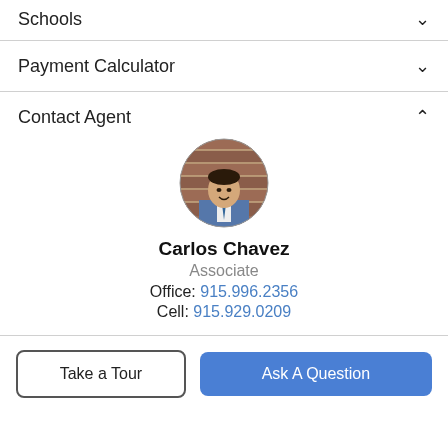Schools
Payment Calculator
Contact Agent
[Figure (photo): Circular headshot photo of Carlos Chavez, a man in a blue suit jacket, standing in front of a brick wall background.]
Carlos Chavez
Associate
Office: 915.996.2356
Cell: 915.929.0209
Take a Tour
Ask A Question